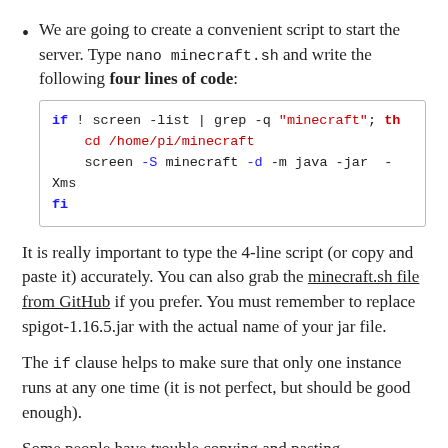We are going to create a convenient script to start the server. Type nano minecraft.sh and write the following four lines of code:
if ! screen -list | grep -q "minecraft"; then
    cd /home/pi/minecraft
    screen -S minecraft -d -m java -jar  -Xms
fi
It is really important to type the 4-line script (or copy and paste it) accurately. You can also grab the minecraft.sh file from GitHub if you prefer. You must remember to replace spigot-1.16.5.jar with the actual name of your jar file.
The if clause helps to make sure that only one instance runs at any one time (it is not perfect, but should be good enough).
Some people have trouble copying and pasting